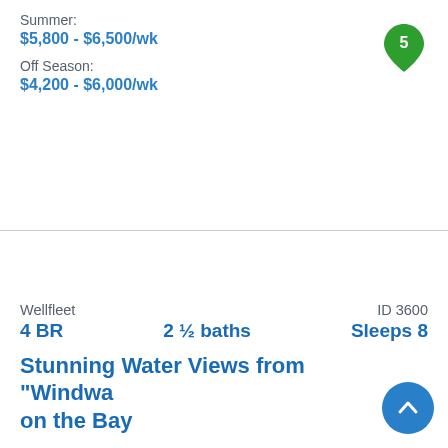Summer:
$5,800 - $6,500/wk
Off Season:
$4,200 - $6,000/wk
Wellfleet
ID 3600
4 BR   2 ½ baths   Sleeps 8
Stunning Water Views from "Windwa... on the Bay